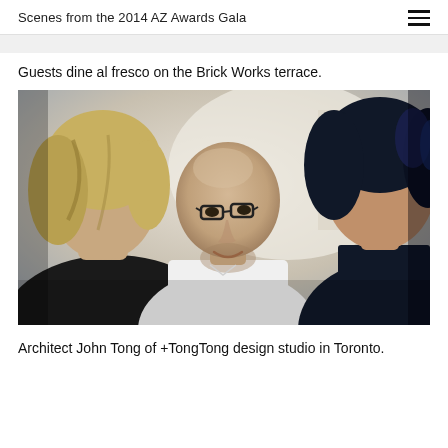Scenes from the 2014 AZ Awards Gala
Guests dine al fresco on the Brick Works terrace.
[Figure (photo): A bald man wearing glasses and a white shirt smiles while talking with two people in the foreground, one blonde on the left and one with dark hair on the right. Indoor/outdoor event setting with bright background.]
Architect John Tong of +TongTong design studio in Toronto.